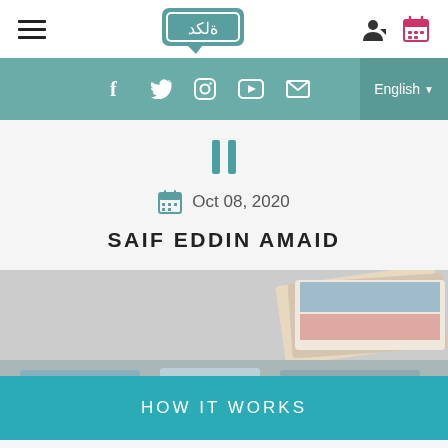[Figure (screenshot): Website navigation bar with hamburger menu, logo with Arabic/stylized text in teal speech bubble, user icon, and calendar icon]
[Figure (screenshot): Social media bar in teal with icons for Facebook, Twitter, Instagram, YouTube, Email, and English language selector]
[Figure (illustration): Two vertical teal quotation mark bars]
Oct 08, 2020
SAIF EDDIN AMAID
[Figure (photo): Photo of stacked cards or booklets with colorful patterns, partially visible. A large teal banner reading HOW IT WORKS overlays the bottom portion of the image.]